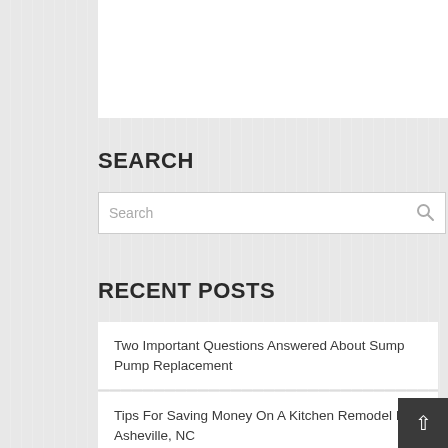SEARCH
[Figure (other): Search input box with placeholder text 'Search' and a magnifying glass icon on the right]
RECENT POSTS
Two Important Questions Answered About Sump Pump Replacement
Tips For Saving Money On A Kitchen Remodel In Asheville, NC